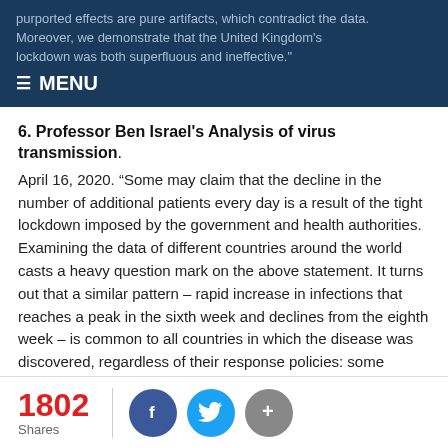purported effects are pure artifacts, which contradict the data. Moreover, we demonstrate that the United Kingdom's lockdown was both superfluous and ineffective." ☰ MENU
6. Professor Ben Israel's Analysis of virus transmission.
April 16, 2020. “Some may claim that the decline in the number of additional patients every day is a result of the tight lockdown imposed by the government and health authorities. Examining the data of different countries around the world casts a heavy question mark on the above statement. It turns out that a similar pattern – rapid increase in infections that reaches a peak in the sixth week and declines from the eighth week – is common to all countries in which the disease was discovered, regardless of their response policies: some imposed a severe and immediate lockdown that included not only ‘social distancing’ and banning crowding, but also shutout of economy (like Israel); some ‘ignored’ the infection and
1802 Shares